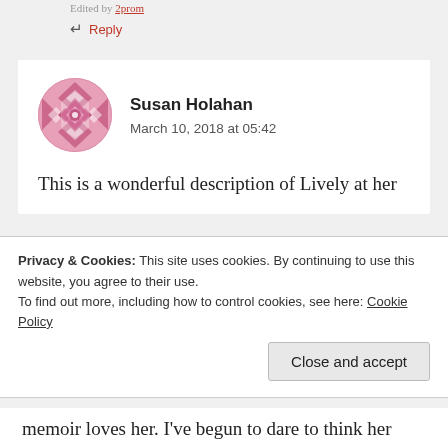Edited by 2prom
↵ Reply
[Figure (illustration): Pink geometric quilt-pattern circular avatar for Susan Holahan]
Susan Holahan
March 10, 2018 at 05:42
This is a wonderful description of Lively at her
Privacy & Cookies: This site uses cookies. By continuing to use this website, you agree to their use.
To find out more, including how to control cookies, see here: Cookie Policy
Close and accept
memoir loves her. I've begun to dare to think her